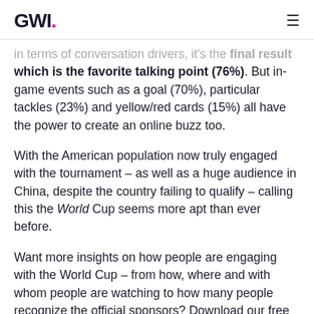GWI.
in terms of conversation drivers, it's the final result which is the favorite talking point (76%). But in-game events such as a goal (70%), particular tackles (23%) and yellow/red cards (15%) all have the power to create an online buzz too.
With the American population now truly engaged with the tournament – as well as a huge audience in China, despite the country failing to qualify – calling this the World Cup seems more apt than ever before.
Want more insights on how people are engaging with the World Cup – from how, where and with whom people are watching to how many people recognize the official sponsors? Download our free World Cup behaviors report here as well as our free profile of fans.